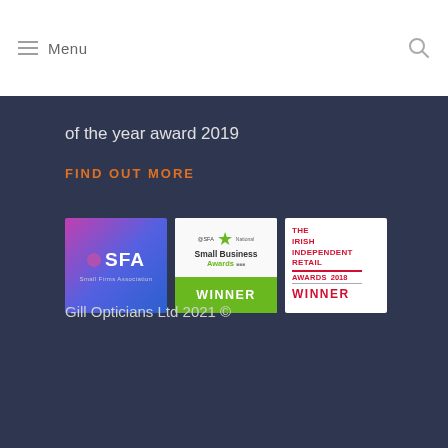Menu
of the year award 2019
FIND OUT MORE
[Figure (logo): SFA Small Firms Association logo with purple-to-blue gradient background]
[Figure (logo): SFA National Small Business Awards WINNER badge with green star and green winner banner]
[Figure (logo): The Irish Independent Retail Awards 2018 WINNER badge in red and white]
Gill Opticians Ltd 2021 ©